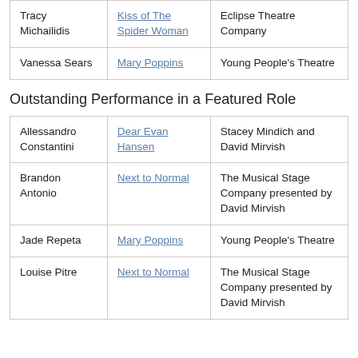| Name | Production | Company |
| --- | --- | --- |
| Tracy Michailidis | Kiss of The Spider Woman | Eclipse Theatre Company |
| Vanessa Sears | Mary Poppins | Young People's Theatre |
Outstanding Performance in a Featured Role
| Name | Production | Company |
| --- | --- | --- |
| Allessandro Constantini | Dear Evan Hansen | Stacey Mindich and David Mirvish |
| Brandon Antonio | Next to Normal | The Musical Stage Company presented by David Mirvish |
| Jade Repeta | Mary Poppins | Young People's Theatre |
| Louise Pitre | Next to Normal | The Musical Stage Company presented by David Mirvish |